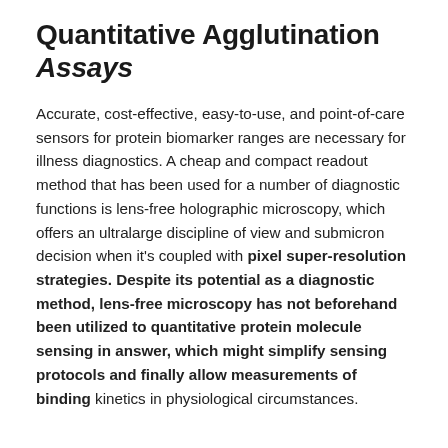Quantitative Agglutination Assays
Accurate, cost-effective, easy-to-use, and point-of-care sensors for protein biomarker ranges are necessary for illness diagnostics. A cheap and compact readout method that has been used for a number of diagnostic functions is lens-free holographic microscopy, which offers an ultralarge discipline of view and submicron decision when it's coupled with pixel super-resolution strategies. Despite its potential as a diagnostic method, lens-free microscopy has not beforehand been utilized to quantitative protein molecule sensing in answer, which might simplify sensing protocols and finally allow measurements of binding kinetics in physiological circumstances.